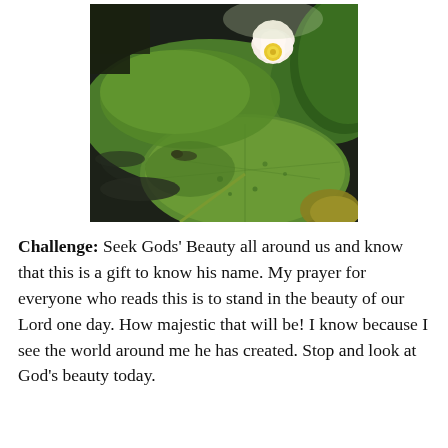[Figure (photo): A photograph of water lily pads floating on dark water with a single white/pink lotus flower blooming in the upper center, surrounded by large green lily pads and foliage.]
Challenge:  Seek Gods' Beauty all around us and know that this is a gift to know his name.  My prayer for everyone who reads this is to stand in the beauty of our Lord one day.  How majestic that will be!  I know because I see the world around me he has created.  Stop and look at God's beauty today.